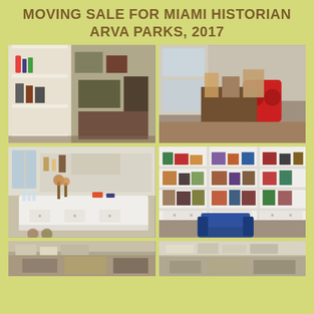MOVING SALE FOR MIAMI HISTORIAN ARVA PARKS, 2017
[Figure (photo): Top-left photo: shelves with various household items, decorative objects, bottles, and storage containers in a bright white cabinet]
[Figure (photo): Top-right photo: cluttered room with red chairs, glass cabinet with items, various objects on a table]
[Figure (photo): Middle-left photo: white kitchen island/counter with glassware, flowers, and various small items laid out for sale]
[Figure (photo): Middle-right photo: white built-in bookshelves filled with collectibles, figurines, frames, and a blue armchair in front]
[Figure (photo): Bottom-left partial photo: partially visible room with items]
[Figure (photo): Bottom-right partial photo: partially visible room with items]